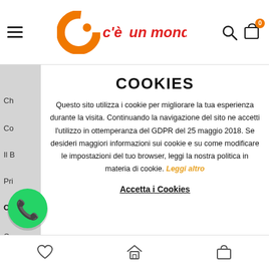c'è un mondo — site header with logo, hamburger menu, search icon, cart icon
COOKIES
Questo sito utilizza i cookie per migliorare la tua esperienza durante la visita. Continuando la navigazione del sito ne accetti l'utilizzo in ottemperanza del GDPR del 25 maggio 2018. Se desideri maggiori informazioni sui cookie e su come modificare le impostazioni del tuo browser, leggi la nostra politica in materia di cookie. Leggi altro
Accetta i Cookies
[Figure (logo): WhatsApp floating button icon (green circle with white phone handset)]
Bottom navigation bar with heart/wishlist, home, and cart icons